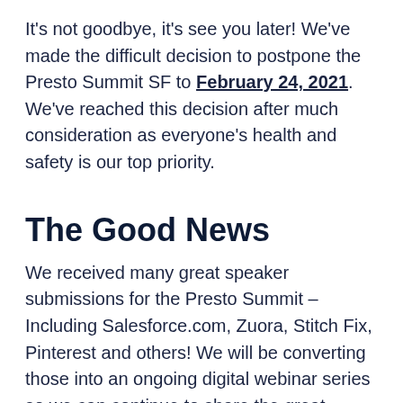It's not goodbye, it's see you later! We've made the difficult decision to postpone the Presto Summit SF to February 24, 2021. We've reached this decision after much consideration as everyone's health and safety is our top priority.
The Good News
We received many great speaker submissions for the Presto Summit – Including Salesforce.com, Zuora, Stitch Fix, Pinterest and others! We will be converting those into an ongoing digital webinar series so we can continue to share the great Presto usage stories from the community.
May 21st, 2020